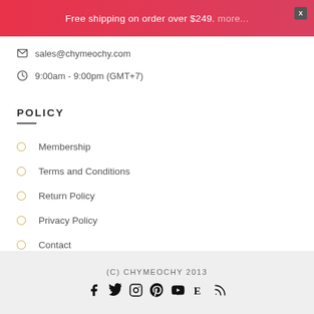Free shipping on order over $249. more...
sales@chymeochy.com
9:00am - 9:00pm (GMT+7)
POLICY
Membership
Terms and Conditions
Return Policy
Privacy Policy
Contact
(C) CHYMEOCHY 2013